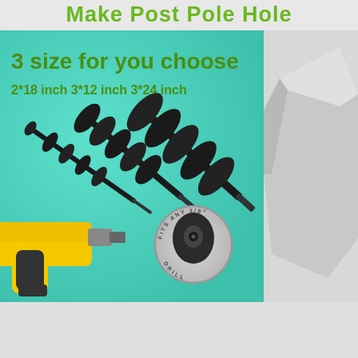Make Post Pole Hole
[Figure (photo): Product image showing three auger drill bit sizes (2x18 inch, 3x12 inch, 3x24 inch) on a teal/mint green background, with a yellow DeWalt drill on the left and a circular badge reading 'FITS ANY 3/8" DRILL' on the right. Text overlay '3 size for you choose' and size labels '2*18 inch  3*12 inch  3*24 inch' appear on the image.]